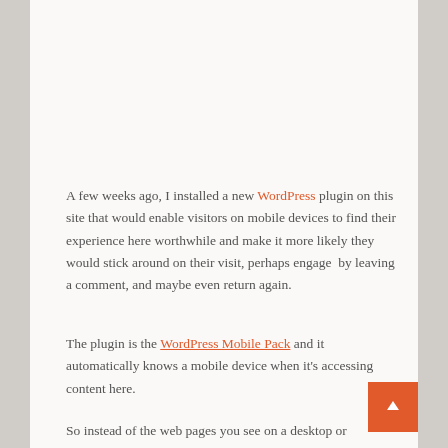A few weeks ago, I installed a new WordPress plugin on this site that would enable visitors on mobile devices to find their experience here worthwhile and make it more likely they would stick around on their visit, perhaps engage  by leaving a comment, and maybe even return again.
The plugin is the WordPress Mobile Pack and it automatically knows a mobile device when it's accessing content here.
So instead of the web pages you see on a desktop or